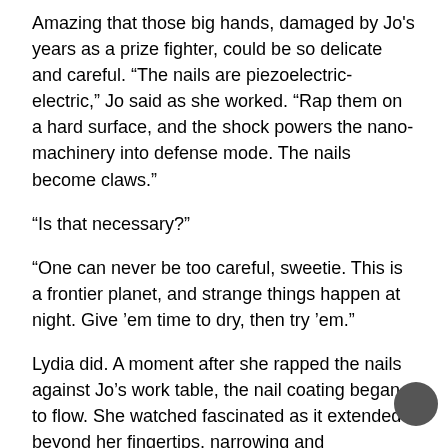Amazing that those big hands, damaged by Jo's years as a prize fighter, could be so delicate and careful. “The nails are piezoelectric-electric,” Jo said as she worked. “Rap them on a hard surface, and the shock powers the nano-machinery into defense mode. The nails become claws.”
“Is that necessary?”
“One can never be too careful, sweetie. This is a frontier planet, and strange things happen at night. Give ’em time to dry, then try ’em.”
Lydia did. A moment after she rapped the nails against Jo’s work table, the nail coating began to flow. She watched fascinated as it extended beyond her fingertips, narrowing and sharpening.